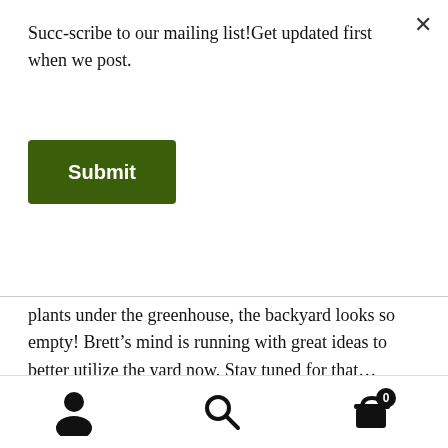Succ-scribe to our mailing list!Get updated first when we post.
Submit
plants under the greenhouse, the backyard looks so empty! Brett’s mind is running with great ideas to better utilize the yard now. Stay tuned for that…
[Figure (photo): Thumbnail image labeled 'It's Brett!']
[Figure (photo): Thumbnail image with icon, partially visible label]
[Figure (photo): Thumbnail image labeled 'front view of closed']
User account icon | Search icon | Cart icon with badge showing 0